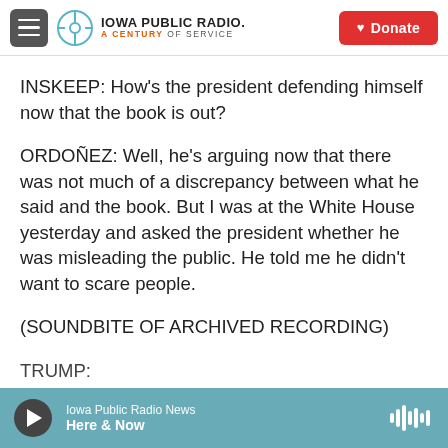Iowa Public Radio. A Century of Service. Donate.
INSKEEP: How's the president defending himself now that the book is out?
ORDOÑEZ: Well, he's arguing now that there was not much of a discrepancy between what he said and the book. But I was at the White House yesterday and asked the president whether he was misleading the public. He told me he didn't want to scare people.
(SOUNDBITE OF ARCHIVED RECORDING)
TRUMP: ...
Iowa Public Radio News  Here & Now